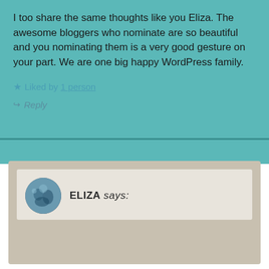I too share the same thoughts like you Eliza. The awesome bloggers who nominate are so beautiful and you nominating them is a very good gesture on your part. We are one big happy WordPress family.
Liked by 1 person
Reply
ELIZA says:
Privacy & Cookies: This site uses cookies. By continuing to use this website, you agree to their use. To find out more, including how to control cookies, see here: Cookie Policy
Close and accept